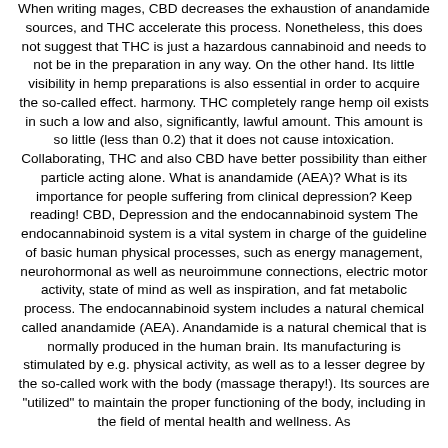When writing mages, CBD decreases the exhaustion of anandamide sources, and THC accelerate this process. Nonetheless, this does not suggest that THC is just a hazardous cannabinoid and needs to not be in the preparation in any way. On the other hand. Its little visibility in hemp preparations is also essential in order to acquire the so-called effect. harmony. THC completely range hemp oil exists in such a low and also, significantly, lawful amount. This amount is so little (less than 0.2) that it does not cause intoxication. Collaborating, THC and also CBD have better possibility than either particle acting alone. What is anandamide (AEA)? What is its importance for people suffering from clinical depression? Keep reading! CBD, Depression and the endocannabinoid system The endocannabinoid system is a vital system in charge of the guideline of basic human physical processes, such as energy management, neurohormonal as well as neuroimmune connections, electric motor activity, state of mind as well as inspiration, and fat metabolic process. The endocannabinoid system includes a natural chemical called anandamide (AEA). Anandamide is a natural chemical that is normally produced in the human brain. Its manufacturing is stimulated by e.g. physical activity, as well as to a lesser degree by the so-called work with the body (massage therapy!). Its sources are "utilized" to maintain the proper functioning of the body, including in the field of mental health and wellness. As